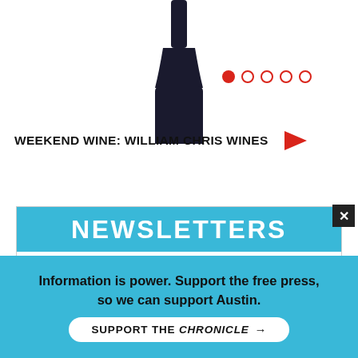[Figure (photo): Wine bottle (dark glass) photographed from below against white background, with red-filled and empty circle dots in a row to the right]
WEEKEND WINE: WILLIAM CHRIS WINES
NEWSLETTERS
Your Email Address
Subscribe to All — One click gets you all the newsletters listed below
Chronicle Daily — Breaking news, arts coverage, and daily events
Austin Events — Can't keep up with happenings around town? We can help.
Qmmunity — Austin's queerest news and events
The Verde Report — Eric Goodman's Austin FC column, other soccer news
Chronfidential — Behind the scenes at The Austin Chronicle.
Information is power. Support the free press, so we can support Austin.
SUPPORT THE CHRONICLE →